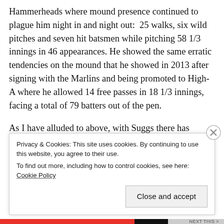Hammerheads where mound presence continued to plague him night in and night out: 25 walks, six wild pitches and seven hit batsmen while pitching 58 1/3 innings in 46 appearances. He showed the same erratic tendencies on the mound that he showed in 2013 after signing with the Marlins and being promoted to High-A where he allowed 14 free passes in 18 1/3 innings, facing a total of 79 batters out of the pen.
As I have alluded to above, with Suggs there has always been two sides to his story. His Jekyll like moments on the mound have highlighted his ability to have master control of his devastating curveball making him a force to be reckoned with, especially when paired with his above-average fastball. These
Privacy & Cookies: This site uses cookies. By continuing to use this website, you agree to their use.
To find out more, including how to control cookies, see here: Cookie Policy
Close and accept